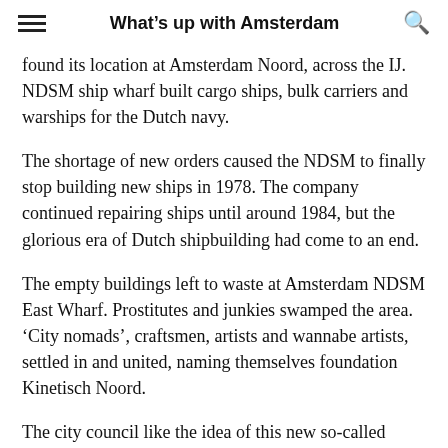What's up with Amsterdam
found its location at Amsterdam Noord, across the IJ. NDSM ship wharf built cargo ships, bulk carriers and warships for the Dutch navy.
The shortage of new orders caused the NDSM to finally stop building new ships in 1978. The company continued repairing ships until around 1984, but the glorious era of Dutch shipbuilding had come to an end.
The empty buildings left to waste at Amsterdam NDSM East Wharf. Prostitutes and junkies swamped the area. 'City nomads', craftsmen, artists and wannabe artists, settled in and united, naming themselves foundation Kinetisch Noord.
The city council like the idea of this new so-called 'broedplaats' ('breeding spaces'). Kinetisch Noord now receives subsidies from the Amsterdam city council. They